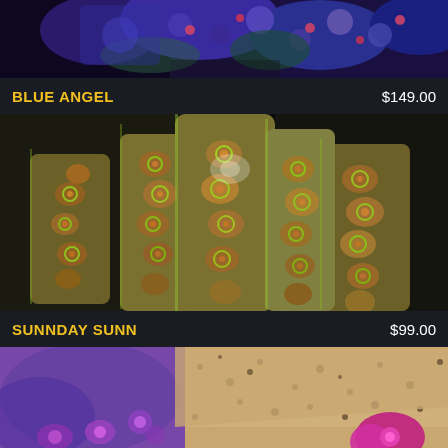[Figure (photo): Close-up photo of blue/purple coral polyps (Blue Angel coral) with colorful zoanthid patterns on dark background]
BLUE ANGEL	$149.00
[Figure (photo): Close-up photo of yellow-green branching coral (Sunnday Sunn) with textured tubercle-covered branches and circular polyp patterns]
SUNNDAY SUNN	$99.00
[Figure (photo): Close-up photo of purple and brown coral with magenta/pink zoanthid polyps on a speckled tan background]